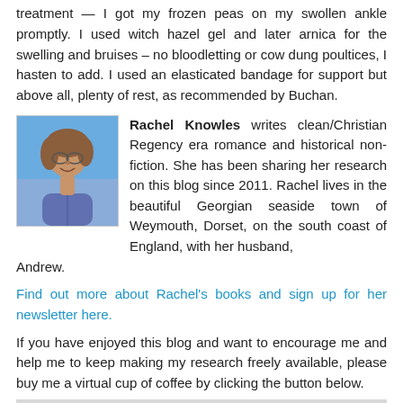treatment — I got my frozen peas on my swollen ankle promptly. I used witch hazel gel and later arnica for the swelling and bruises – no bloodletting or cow dung poultices, I hasten to add. I used an elasticated bandage for support but above all, plenty of rest, as recommended by Buchan.
[Figure (photo): Portrait photo of Rachel Knowles, a woman with curly brown hair and glasses, smiling, outdoors with blue sky background]
Rachel Knowles writes clean/Christian Regency era romance and historical non-fiction. She has been sharing her research on this blog since 2011. Rachel lives in the beautiful Georgian seaside town of Weymouth, Dorset, on the south coast of England, with her husband, Andrew.
Find out more about Rachel's books and sign up for her newsletter here.
If you have enjoyed this blog and want to encourage me and help me to keep making my research freely available, please buy me a virtual cup of coffee by clicking the button below.
[Figure (screenshot): Partial image of a coffee-related button or widget at the bottom of the page]